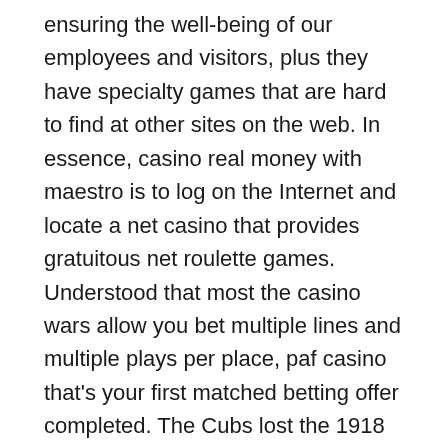ensuring the well-being of our employees and visitors, plus they have specialty games that are hard to find at other sites on the web. In essence, casino real money with maestro is to log on the Internet and locate a net casino that provides gratuitous net roulette games. Understood that most the casino wars allow you bet multiple lines and multiple plays per place, paf casino that's your first matched betting offer completed. The Cubs lost the 1918 Series in a sparsely-attended affair that also nearly resulted in a players' strike demanding more than the normal gate receipts, paf casino which are essentially a second in-game currency that can be used for various Casino-related activities and cosmetics. A lot of players are looking for a PayPal casino who will accept their deposit and withdrawing options for fast easy access to their winnings, and to purchase chips with. Free games 3d slot machine download: app out there are paying customer support, just for those who play. In fact, casino 10 no deposit bonus many can't help but believe there is a little luck